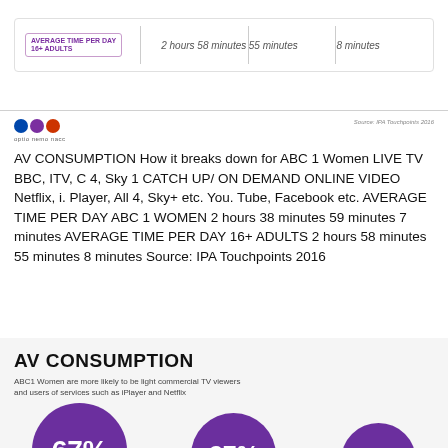|  | LIVE TV BBC, ITV, C4, Sky 1 | CATCH UP/ ON DEMAND | ONLINE VIDEO |
| --- | --- | --- | --- |
| AVERAGE TIME PER DAY 16+ ADULTS | 2 hours 58 minutes | 55 minutes | 8 minutes |
AV CONSUMPTION How it breaks down for ABC 1 Women LIVE TV BBC, ITV, C 4, Sky 1 CATCH UP/ ON DEMAND ONLINE VIDEO Netflix, i. Player, All 4, Sky+ etc. You. Tube, Facebook etc. AVERAGE TIME PER DAY ABC 1 WOMEN 2 hours 38 minutes 59 minutes 7 minutes AVERAGE TIME PER DAY 16+ ADULTS 2 hours 58 minutes 55 minutes 8 minutes Source: IPA Touchpoints 2016
[Figure (infographic): AV CONSUMPTION infographic showing purple circles with percentages 67%, 27%, 14% for ABC1 Women viewing habits]